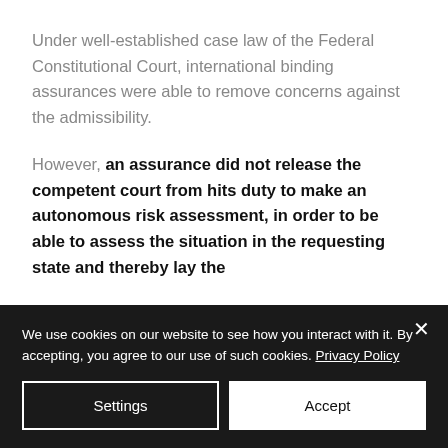Under well-established case law of the Federal Constitutional Court, international binding assurances were able to remove concerns against the admissibility.
However, an assurance did not release the competent court from hits duty to make an autonomous risk assessment, in order to be able to assess the situation in the requesting state and thereby lay the
We use cookies on our website to see how you interact with it. By accepting, you agree to our use of such cookies. Privacy Policy